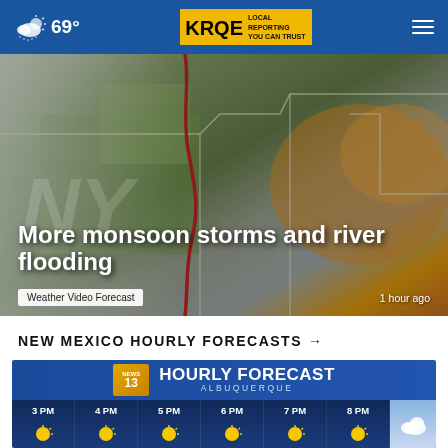69° | KRQE LOCAL REPORTING YOU CAN TRUST
[Figure (screenshot): Weather map showing monsoon storm system with red boundary line, green terrain, and orange/amber area to the east, with ghost letters NY in background]
More monsoon storms and river flooding
Weather Video Forecast   1 hour ago
NEW MEXICO HOURLY FORECASTS →
[Figure (screenshot): News 13 Hourly Forecast graphic for Albuquerque showing times 3 PM, 4 PM, 5 PM, 6 PM, 7 PM, 8 PM with weather icons]